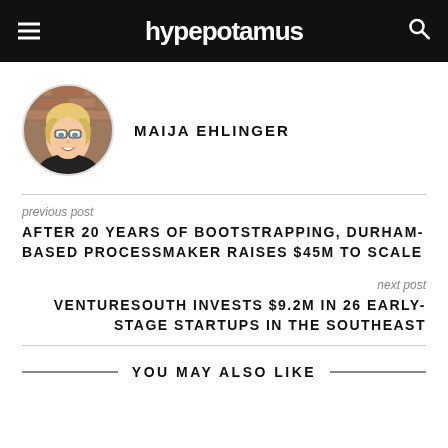hypepotamus
[Figure (photo): Circular avatar photo of Maija Ehlinger, a woman with blonde hair and glasses, smiling, in front of a brick wall background]
MAIJA EHLINGER
previous post
AFTER 20 YEARS OF BOOTSTRAPPING, DURHAM-BASED PROCESSMAKER RAISES $45M TO SCALE
next post
VENTURESOUTH INVESTS $9.2M IN 26 EARLY-STAGE STARTUPS IN THE SOUTHEAST
YOU MAY ALSO LIKE